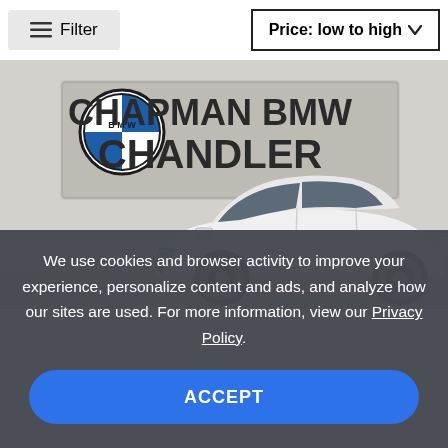Filter
Price: low to high
[Figure (photo): White BMW SUV (X1/X5) parked in front of a Chapman BMW Chandler dealership sign with the BMW logo]
We use cookies and browser activity to improve your experience, personalize content and ads, and analyze how our sites are used. For more information, view our Privacy Policy.
ACCEPT